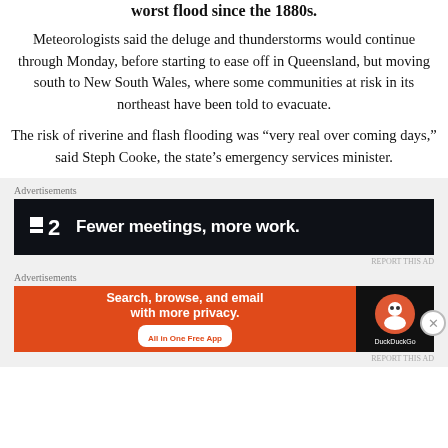worst flood since the 1880s.
Meteorologists said the deluge and thunderstorms would continue through Monday, before starting to ease off in Queensland, but moving south to New South Wales, where some communities at risk in its northeast have been told to evacuate.
The risk of riverine and flash flooding was “very real over coming days,” said Steph Cooke, the state’s emergency services minister.
Advertisements
[Figure (screenshot): Dark advertisement banner: T2 logo with text 'Fewer meetings, more work.']
Advertisements
[Figure (screenshot): DuckDuckGo advertisement: orange left panel 'Search, browse, and email with more privacy. All in One Free App' and dark right panel with DuckDuckGo logo.]